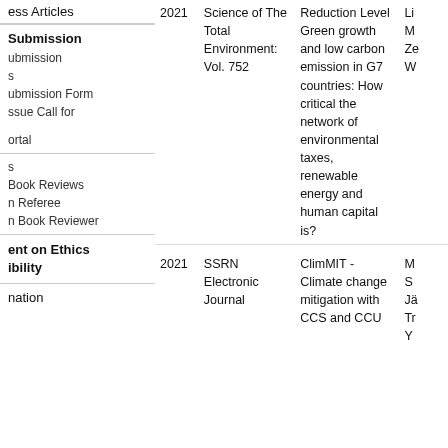ess Articles
Submission
ubmission
s
ubmission Form
ssue Call for
ortal
s
Book Reviews
n Referee
n Book Reviewer
ent on Ethics
ibility
nation
| Year | Journal | Article Title | Authors |
| --- | --- | --- | --- |
| 2021 | Science of The Total Environment: Vol. 752 | Reduction Level
Green growth and low carbon emission in G7 countries: How critical the network of environmental taxes, renewable energy and human capital is? | Li...
M...
Ze...
W... |
| 2021 | SSRN Electronic Journal | ClimMIT - Climate change mitigation with CCS and CCU | M...
S...
Jä...
Tr...
Y... |